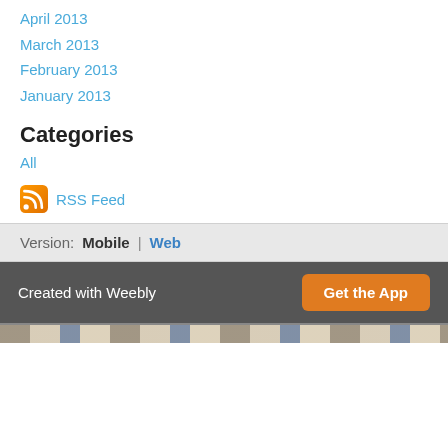April 2013
March 2013
February 2013
January 2013
Categories
All
RSS Feed
Version: Mobile | Web
Created with Weebly  Get the App